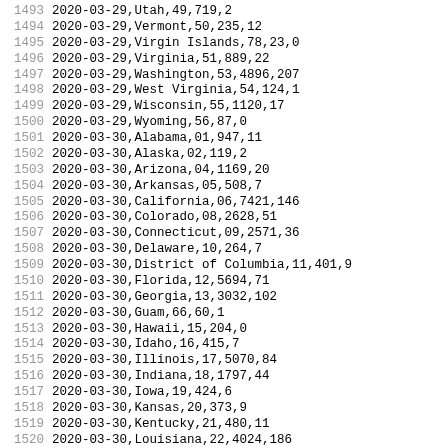| line | data |
| --- | --- |
| 1493 | 2020-03-29,Utah,49,719,2 |
| 1494 | 2020-03-29,Vermont,50,235,12 |
| 1495 | 2020-03-29,Virgin Islands,78,23,0 |
| 1496 | 2020-03-29,Virginia,51,889,22 |
| 1497 | 2020-03-29,Washington,53,4896,207 |
| 1498 | 2020-03-29,West Virginia,54,124,1 |
| 1499 | 2020-03-29,Wisconsin,55,1120,17 |
| 1500 | 2020-03-29,Wyoming,56,87,0 |
| 1501 | 2020-03-30,Alabama,01,947,11 |
| 1502 | 2020-03-30,Alaska,02,119,2 |
| 1503 | 2020-03-30,Arizona,04,1169,20 |
| 1504 | 2020-03-30,Arkansas,05,508,7 |
| 1505 | 2020-03-30,California,06,7421,146 |
| 1506 | 2020-03-30,Colorado,08,2628,51 |
| 1507 | 2020-03-30,Connecticut,09,2571,36 |
| 1508 | 2020-03-30,Delaware,10,264,7 |
| 1509 | 2020-03-30,District of Columbia,11,401,9 |
| 1510 | 2020-03-30,Florida,12,5694,71 |
| 1511 | 2020-03-30,Georgia,13,3032,102 |
| 1512 | 2020-03-30,Guam,66,60,1 |
| 1513 | 2020-03-30,Hawaii,15,204,0 |
| 1514 | 2020-03-30,Idaho,16,415,7 |
| 1515 | 2020-03-30,Illinois,17,5070,84 |
| 1516 | 2020-03-30,Indiana,18,1797,44 |
| 1517 | 2020-03-30,Iowa,19,424,6 |
| 1518 | 2020-03-30,Kansas,20,373,9 |
| 1519 | 2020-03-30,Kentucky,21,480,11 |
| 1520 | 2020-03-30,Louisiana,22,4024,186 |
| 1521 | 2020-03-30,Maine,23,275,3 |
| 1522 | 2020-03-30,Maryland,24,1414,15 |
| 1523 | 2020-03-30,Massachusetts,25,5752,56 |
| 1524 | 2020-03-30,Michigan,26,6508,197 |
| 1525 | 2020-03-30,Minnesota,27,576,18 |